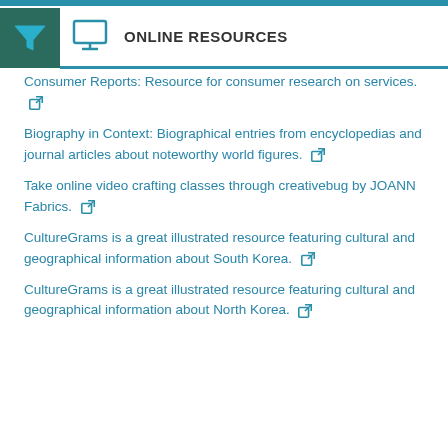ONLINE RESOURCES
Consumer Reports: Resource for consumer research on services.
Biography in Context: Biographical entries from encyclopedias and journal articles about noteworthy world figures.
Take online video crafting classes through creativebug by JOANN Fabrics.
CultureGrams is a great illustrated resource featuring cultural and geographical information about South Korea.
CultureGrams is a great illustrated resource featuring cultural and geographical information about North Korea.